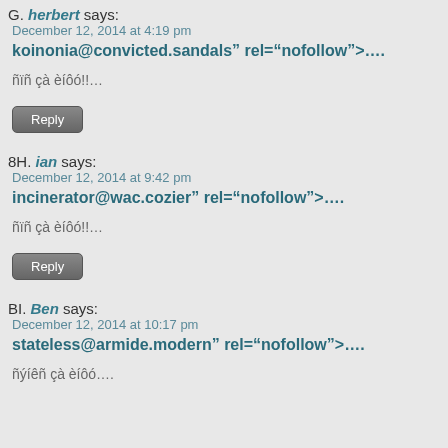G. herbert says:
December 12, 2014 at 4:19 pm
koinonia@convicted.sandals" rel="nofollow">....
ñïñ çà èíôó!!…
Reply
8H. ian says:
December 12, 2014 at 9:42 pm
incinerator@wac.cozier" rel="nofollow">....
ñïñ çà èíôó!!…
Reply
BI. Ben says:
December 12, 2014 at 10:17 pm
stateless@armide.modern" rel="nofollow">....
ñýíêñ çà èíôó….